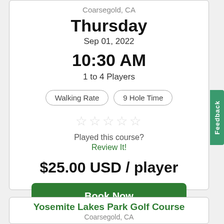Coarsegold, CA
Thursday
Sep 01, 2022
10:30 AM
1 to 4 Players
Walking Rate | 9 Hole Time
★☆☆☆☆
Played this course?
Review It!
$25.00 USD / player
Book Now
Yosemite Lakes Park Golf Course
Coarsegold, CA